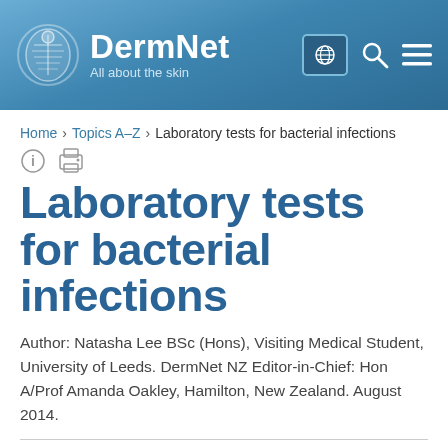DermNet — All about the skin
Home > Topics A–Z > Laboratory tests for bacterial infections
Laboratory tests for bacterial infections
Author: Natasha Lee BSc (Hons), Visiting Medical Student, University of Leeds. DermNet NZ Editor-in-Chief: Hon A/Prof Amanda Oakley, Hamilton, New Zealand. August 2014.
Table of contents
ADVERTISEMENT